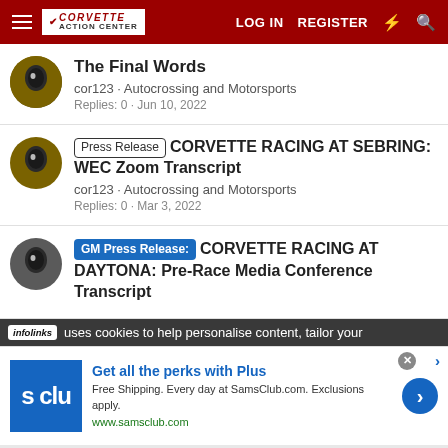Corvette Action Center — LOG IN  REGISTER
The Final Words
cor123 · Autocrossing and Motorsports
Replies: 0 · Jun 10, 2022
Press Release  CORVETTE RACING AT SEBRING: WEC Zoom Transcript
cor123 · Autocrossing and Motorsports
Replies: 0 · Mar 3, 2022
GM Press Release:  CORVETTE RACING AT DAYTONA: Pre-Race Media Conference Transcript
infolinks  uses cookies to help personalise content, tailor your
[Figure (screenshot): Sam's Club advertisement: Get all the perks with Plus. Free Shipping. Every day at SamsClub.com. Exclusions apply. www.samsclub.com]